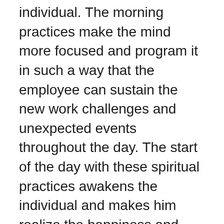individual. The morning practices make the mind more focused and program it in such a way that the employee can sustain the new work challenges and unexpected events throughout the day. The start of the day with these spiritual practices awakens the individual and makes him realize the happiness and peace within by detaching him from the deep dreams of other attractions. To make the mind feel great and alert throughout the day, starting the spiritual practices early in the morning after a complete 8 hours of sleep is beneficial as it is very peaceful and quiet in the morning. After starting to wake up early in the morning, it becomes a supplement for the healthy expansion of the entire life. Committing few spiritual rituals every day